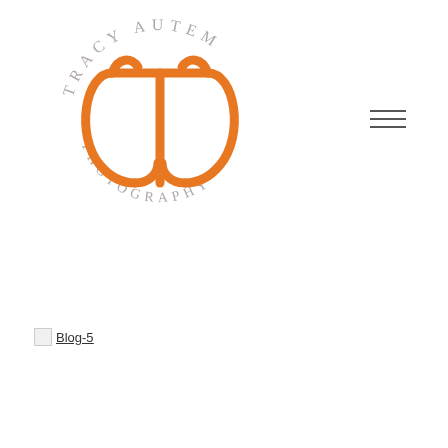[Figure (logo): Tracy Autem Photography circular logo with orange stylized TA monogram and gray text around the circle reading TRACY AUTEM PHOTOGRAPHY]
[Figure (other): Hamburger menu icon with three horizontal lines]
Blog-5